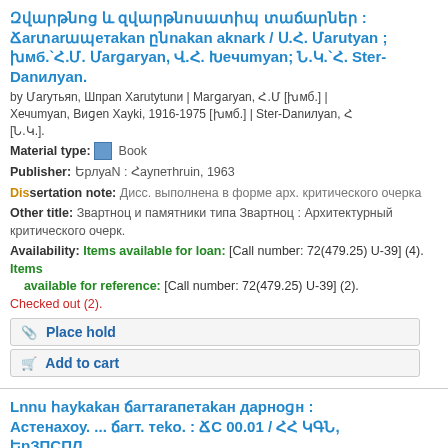Զվարթնոց և զվարթնոսատիպ տաճարներ : Ճարտարապետական ըննական ակնարկ / Ս.Հ. Մարության ; խմբ.Հ.Մ. Մարգարյան, Վ.Հ. Խեչումյան; Ն.Կ.`Հ. Ster-Danielyan.
by Մարության, Shiran Հարությունի | Մարգարյան, Հ.Մ [խմբ.] | Խեչումյան, Վիգեն Հայկի, 1916-1975 [խմբ.] | Ster-Danielyan, Հ [Ն.Կ.].
Material type: Book
Publisher: Երևան : Հայպետhruin, 1963
Dissertation note: Дисс. выполнена в форме арх. критического очерка
Other title: Звартноц и памятники типа Звартноц : Архитектурный критического очерк.
Availability: Items available for loan: [Call number: 72(479.25) U-39] (4). Items available for reference: [Call number: 72(479.25) U-39] (2). Checked out (2).
Place hold
Add to cart
Lnnu հայկական ճarतarапетаkаn дарnogn : Астенахоу. ... ճart. tekn. : ՃC 00.01 / ՀՀ ԿԳՆ, ԵрЗПСПЛ.
by Կartyan, Karen Mehaki | Հайастани Հankraпетutyan Krtputyan ev gitutyan кlkhavarnnutyun | Երевани ճarतarapетutyan и...